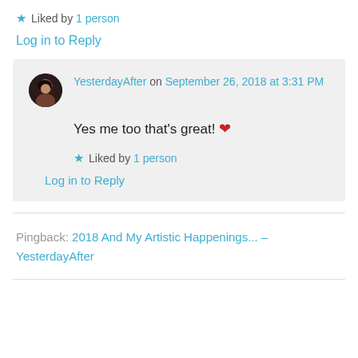★ Liked by 1 person
Log in to Reply
YesterdayAfter on September 26, 2018 at 3:31 PM
Yes me too that's great! ❤
★ Liked by 1 person
Log in to Reply
Pingback: 2018 And My Artistic Happenings... – YesterdayAfter